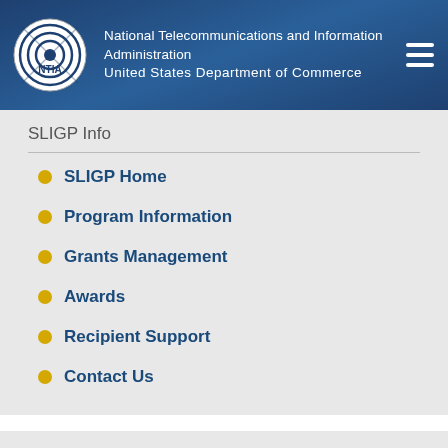National Telecommunications and Information Administration
United States Department of Commerce
SLIGP Info
SLIGP Home
Program Information
Grants Management
Awards
Recipient Support
Contact Us
Internet for All
JUST ANNOUNCED: Biden-Harris Administration Launches “Internet for All” Initiative with $45 Billion to Connect